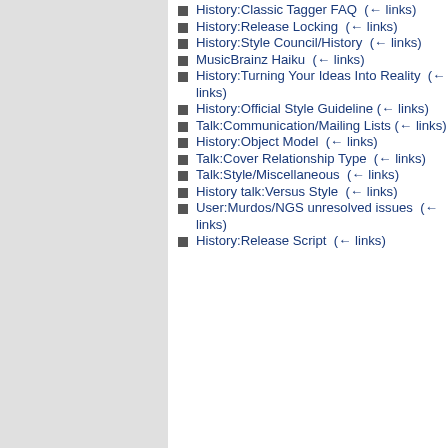History:Classic Tagger FAQ  (← links)
History:Release Locking  (← links)
History:Style Council/History  (← links)
MusicBrainz Haiku  (← links)
History:Turning Your Ideas Into Reality  (← links)
History:Official Style Guideline  (← links)
Talk:Communication/Mailing Lists  (← links)
History:Object Model  (← links)
Talk:Cover Relationship Type  (← links)
Talk:Style/Miscellaneous  (← links)
History talk:Versus Style  (← links)
User:Murdos/NGS unresolved issues  (← links)
History:Release Script  (← links)